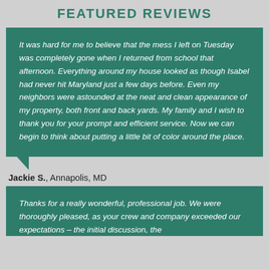FEATURED REVIEWS
It was hard for me to believe that the mess I left on Tuesday was completely gone when I returned from school that afternoon. Everything around my house looked as though Isabel had never hit Maryland just a few days before. Even my neighbors were astounded at the neat and clean appearance of my property, both front and back yards. My family and I wish to thank you for your prompt and efficient service. Now we can begin to think about putting a little bit of color around the place.
Jackie S., Annapolis, MD
Thanks for a really wonderful, professional job. We were thoroughly pleased, as your crew and company exceeded our expectations – the initial discussion, the